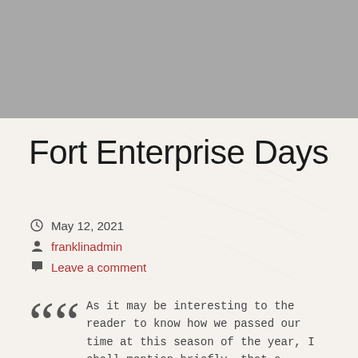[Figure (photo): Gray header banner / background image area at the top of the page]
Fort Enterprise Days
May 12, 2021
franklinadmin
Leave a comment
As it may be interesting to the reader to know how we passed our time at this season of the year, I shall mention briefly, that a considerable portion of it was